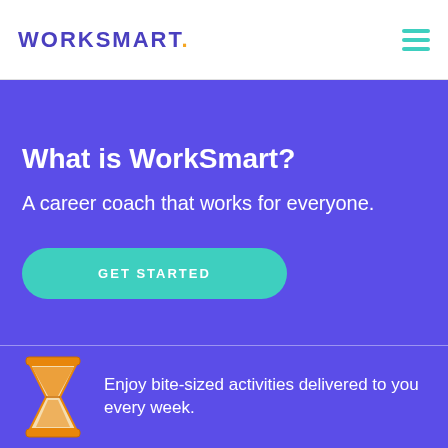WORKSMART.
What is WorkSmart?
A career coach that works for everyone.
GET STARTED
Enjoy bite-sized activities delivered to you every week.